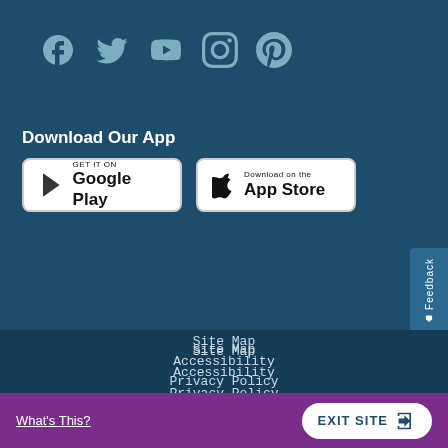[Figure (infographic): Social media icons row: Facebook, Twitter, YouTube, Instagram, Pinterest in muted teal color on dark blue background]
Download Our App
[Figure (infographic): Google Play Store download button badge]
[Figure (infographic): Apple App Store download button badge]
Site Map
Accessibility
Privacy Policy
Legal & Administrative
Department of Defense
What's This?
EXIT SITE